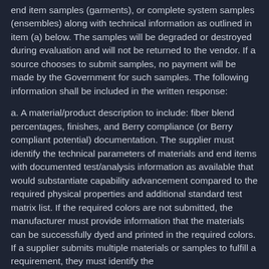end item samples (garments), or complete system samples (ensembles) along with technical information as outlined in item (a) below. The samples will be degraded or destroyed during evaluation and will not be returned to the vendor. If a source chooses to submit samples, no payment will be made by the Government for such samples. The following information shall be included in the written response:
a. A material/product description to include: fiber blend percentages, finishes, and Berry compliance (or Berry compliant potential) documentation. The supplier must identify the technical parameters of materials and end items with documented test/analysis information as available that would substantiate capability advancement compared to the required physical properties and additional standard test matrix list. If the required colors are not submitted, the manufacturer must provide information that the materials can be successfully dyed and printed in the required colors. If a supplier submits multiple materials or samples to fulfill a requirement, they must identify the advantage/disadvantages of their competing products.